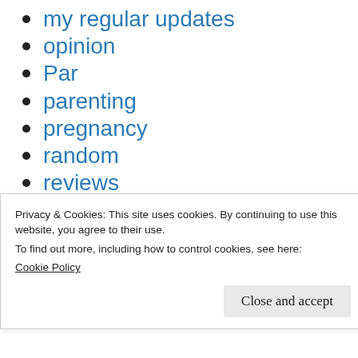my regular updates
opinion
Par
parenting
pregnancy
random
reviews
Technology
travel
Uncategorized
weaning
Privacy & Cookies: This site uses cookies. By continuing to use this website, you agree to their use.
To find out more, including how to control cookies, see here:
Cookie Policy
Close and accept